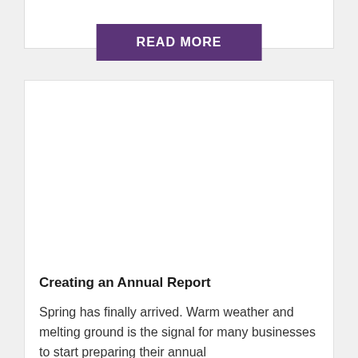[Figure (other): READ MORE button with purple background]
[Figure (photo): Close-up photograph of snowdrop flowers with white drooping petals and green stems against a dark background]
Creating an Annual Report
Spring has finally arrived. Warm weather and melting ground is the signal for many businesses to start preparing their annual